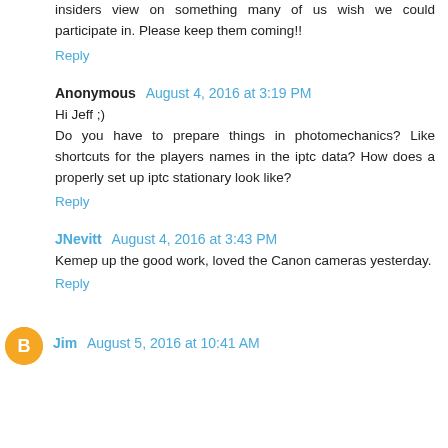insiders view on something many of us wish we could participate in. Please keep them coming!!
Reply
Anonymous August 4, 2016 at 3:19 PM
Hi Jeff ;)
Do you have to prepare things in photomechanics? Like shortcuts for the players names in the iptc data? How does a properly set up iptc stationary look like?
Reply
JNevitt August 4, 2016 at 3:43 PM
Kemep up the good work, loved the Canon cameras yesterday.
Reply
Jim August 5, 2016 at 10:41 AM